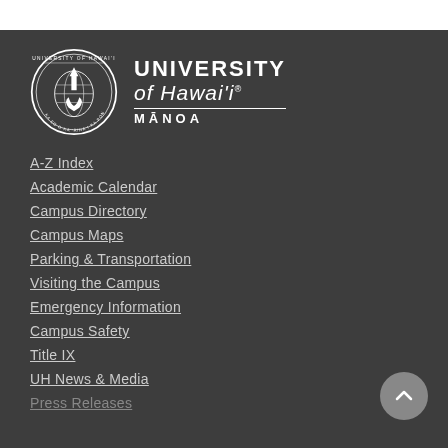[Figure (logo): University of Hawaii at Manoa seal and wordmark logo in white on dark background]
A-Z Index
Academic Calendar
Campus Directory
Campus Maps
Parking & Transportation
Visiting the Campus
Emergency Information
Campus Safety
Title IX
UH News & Media
Press Releases